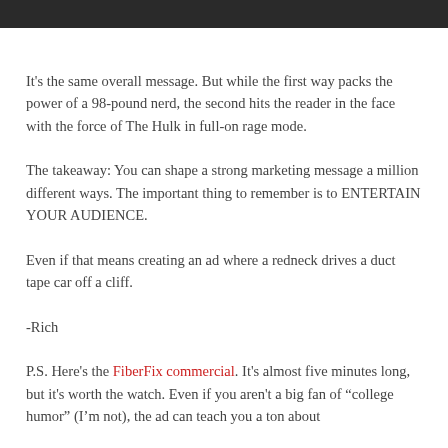[Figure (other): Dark gray/black horizontal bar at the top of the page]
It's the same overall message. But while the first way packs the power of a 98-pound nerd, the second hits the reader in the face with the force of The Hulk in full-on rage mode.
The takeaway: You can shape a strong marketing message a million different ways. The important thing to remember is to ENTERTAIN YOUR AUDIENCE.
Even if that means creating an ad where a redneck drives a duct tape car off a cliff.
-Rich
P.S. Here's the FiberFix commercial. It's almost five minutes long, but it's worth the watch. Even if you aren't a big fan of "college humor" (I'm not), the ad can teach you a ton about